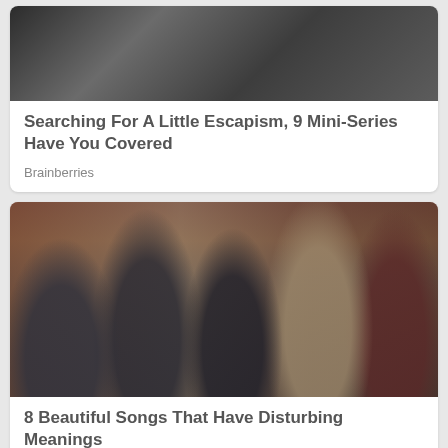[Figure (photo): Top portion of a dark indoor photo showing a person peering through a window or opening, dark tones]
Searching For A Little Escapism, 9 Mini-Series Have You Covered
Brainberries
[Figure (photo): Band photo of five men posing in front of a brick wall with garage door shutters. One man seated on left holds a white guitar, one in center holds a dark guitar, others standing. Various casual outfits.]
8 Beautiful Songs That Have Disturbing Meanings
Brainberries